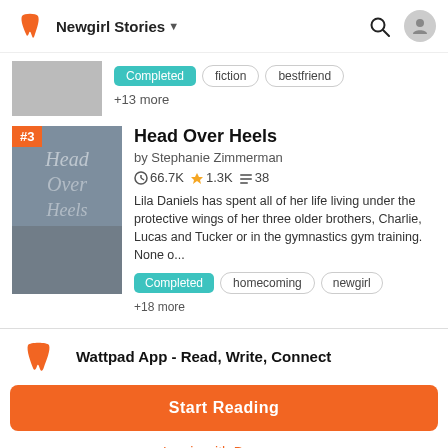Newgirl Stories
Completed  fiction  bestfriend  +13 more
Head Over Heels
by Stephanie Zimmerman
66.7K  1.3K  38
Lila Daniels has spent all of her life living under the protective wings of her three older brothers, Charlie, Lucas and Tucker or in the gymnastics gym training. None o...
Completed  homecoming  newgirl  +18 more
Wattpad App - Read, Write, Connect
Start Reading
Log in with Browser